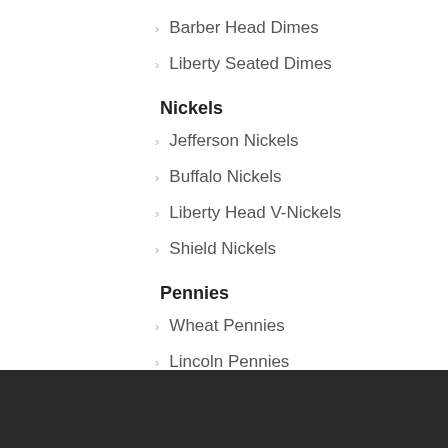Barber Head Dimes
Liberty Seated Dimes
Nickels
Jefferson Nickels
Buffalo Nickels
Liberty Head V-Nickels
Shield Nickels
Pennies
Wheat Pennies
Lincoln Pennies
Indian Head Pennies
Flying Eagle Cents
Gold Coins
About Us